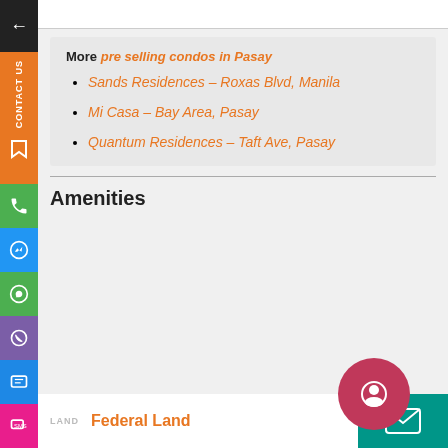More pre selling condos in Pasay
Sands Residences – Roxas Blvd, Manila
Mi Casa – Bay Area, Pasay
Quantum Residences – Taft Ave, Pasay
Amenities
Federal Land